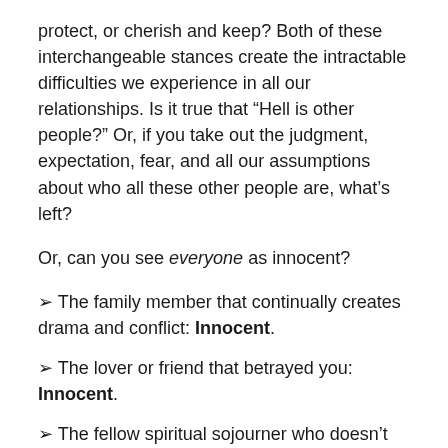protect, or cherish and keep? Both of these interchangeable stances create the intractable difficulties we experience in all our relationships. Is it true that “Hell is other people?” Or, if you take out the judgment, expectation, fear, and all our assumptions about who all these other people are, what’s left?
Or, can you see everyone as innocent?
≥ The family member that continually creates drama and conflict: Innocent.
≥ The lover or friend that betrayed you: Innocent.
≥ The fellow spiritual sojourner who doesn’t walk the talk: Innocent.
≥ The coworker that doesn’t do their job, or takes credit